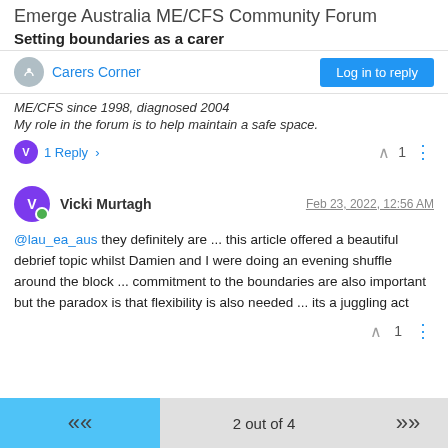Emerge Australia ME/CFS Community Forum
Setting boundaries as a carer
Carers Corner
Log in to reply
ME/CFS since 1998, diagnosed 2004
My role in the forum is to help maintain a safe space.
1 Reply
1
Vicki Murtagh
Feb 23, 2022, 12:56 AM
@lau_ea_aus they definitely are ... this article offered a beautiful debrief topic whilst Damien and I were doing an evening shuffle around the block ... commitment to the boundaries are also important but the paradox is that flexibility is also needed ... its a juggling act
1
2 out of 4